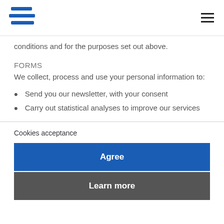[Logo] [Hamburger menu]
conditions and for the purposes set out above.
FORMS
We collect, process and use your personal information to:
Send you our newsletter, with your consent
Carry out statistical analyses to improve our services
Cookies acceptance
Agree
Learn more